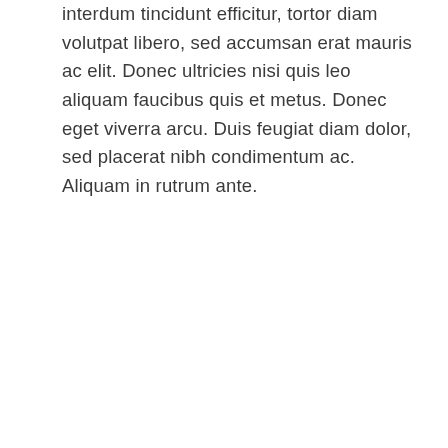interdum tincidunt efficitur, tortor diam volutpat libero, sed accumsan erat mauris ac elit. Donec ultricies nisi quis leo aliquam faucibus quis et metus. Donec eget viverra arcu. Duis feugiat diam dolor, sed placerat nibh condimentum ac. Aliquam in rutrum ante.